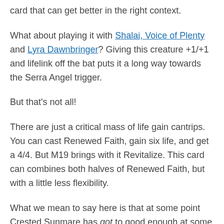card that can get better in the right context.
What about playing it with Shalai, Voice of Plenty and Lyra Dawnbringer? Giving this creature +1/+1 and lifelink off the bat puts it a long way towards the Serra Angel trigger.
But that's not all!
There are just a critical mass of life gain cantrips. You can cast Renewed Faith, gain six life, and get a 4/4. But M19 brings with it Revitalize. This card can combines both halves of Renewed Faith, but with a little less flexibility.
What we mean to say here is that at some point Crested Sunmare has got to good enough at some point, right? #horsetribal
Tons more M19 in this podcast, including scads more flyers; from Nicol Bolas to his fellow Elder Dragon Legends. Many of them look equally fantastic. Learn more